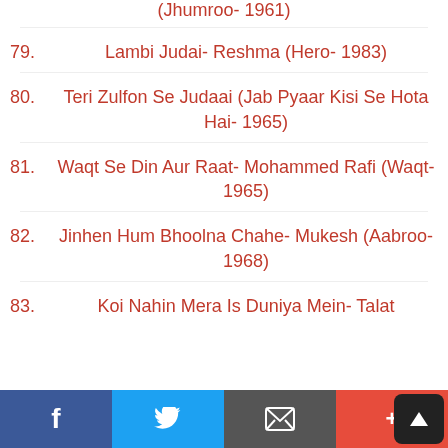(Jhumroo- 1961)
79.   Lambi Judai- Reshma (Hero- 1983)
80.   Teri Zulfon Se Judaai (Jab Pyaar Kisi Se Hota Hai- 1965)
81.   Waqt Se Din Aur Raat- Mohammed Rafi (Waqt- 1965)
82.   Jinhen Hum Bhoolna Chahe- Mukesh (Aabroo- 1968)
83.   Koi Nahin Mera Is Duniya Mein- Talat